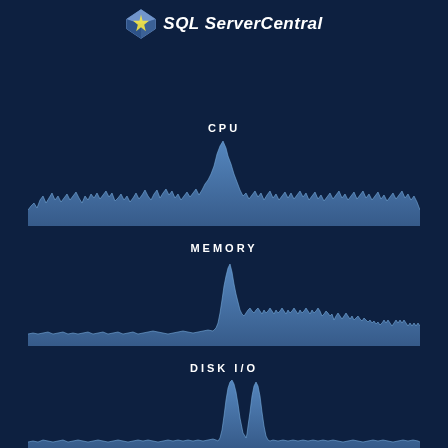[Figure (logo): SQL Server Central logo with diamond/cube icon and yellow text]
CPU
[Figure (continuous-plot): CPU usage area chart showing spiky activity over time with a prominent spike around 60% from the left]
MEMORY
[Figure (continuous-plot): Memory usage area chart showing flat low usage then a sharp spike followed by elevated steady usage in the right half]
DISK I/O
[Figure (continuous-plot): Disk I/O area chart showing mostly flat activity with two large spikes in the center-right portion]